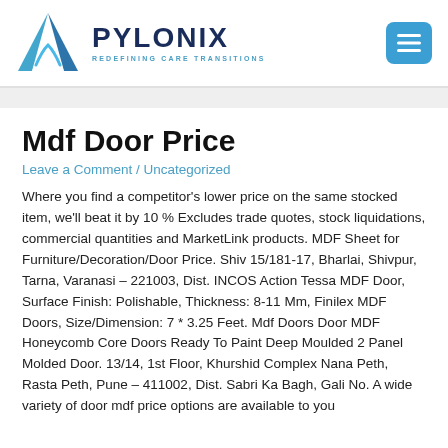[Figure (logo): Pylonix logo with blue arrow/wave icon and text 'PYLONIX REDEFINING CARE TRANSITIONS']
Mdf Door Price
Leave a Comment / Uncategorized
Where you find a competitor's lower price on the same stocked item, we'll beat it by 10 % Excludes trade quotes, stock liquidations, commercial quantities and MarketLink products. MDF Sheet for Furniture/Decoration/Door Price. Shiv 15/181-17, Bharlai, Shivpur, Tarna, Varanasi – 221003, Dist. INCOS Action Tessa MDF Door, Surface Finish: Polishable, Thickness: 8-11 Mm, Finilex MDF Doors, Size/Dimension: 7 * 3.25 Feet. Mdf Doors Door MDF Honeycomb Core Doors Ready To Paint Deep Moulded 2 Panel Molded Door. 13/14, 1st Floor, Khurshid Complex Nana Peth, Rasta Peth, Pune – 411002, Dist. Sabri Ka Bagh, Gali No. A wide variety of door mdf price options are available to you